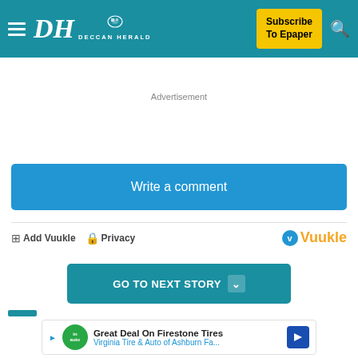DH DECCAN HERALD — Subscribe To Epaper
Advertisement
Write a comment
Add Vuukle  Privacy   Vuukle
GO TO NEXT STORY
[Figure (other): Advertisement banner: Great Deal On Firestone Tires — Virginia Tire & Auto of Ashburn Fa...]